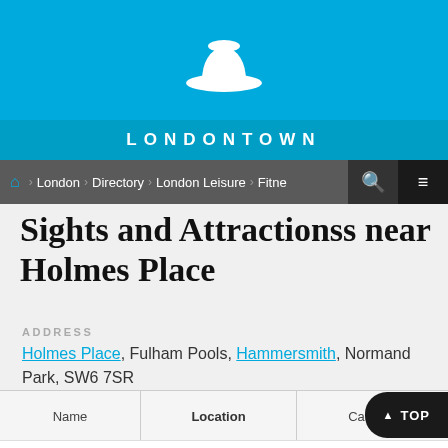[Figure (logo): White bowler hat icon on cyan/blue background]
LONDONTOWN
London > Directory > London Leisure > Fitness
Sights and Attractionss near Holmes Place
ADDRESS
Holmes Place, Fulham Pools, Hammersmith, Normand Park, SW6 7SR
Name | Location | Category | A to Z | TOP